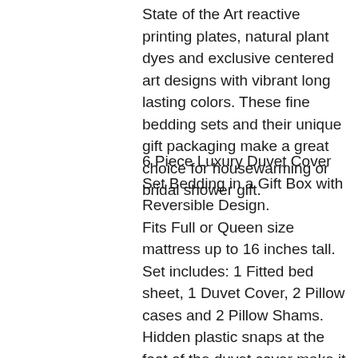State of the Art reactive printing plates, natural plant dyes and exclusive centered art designs with vibrant long lasting colors. These fine bedding sets and their unique gift packaging make a great choice for housewarming or bridal shower gift.
6 Piece Luxury Duvet Cover Set Bedding in a Gift Box with Reversible Design. Fits Full or Queen size mattress up to 16 inches tall. Set includes: 1 Fitted bed sheet, 1 Duvet Cover, 2 Pillow cases and 2 Pillow Shams. Hidden plastic snaps at the foot of the duvet cover make it easy to insert your quilt. Designed for exceptional softness and comfort with 100% Cotton at 300 TC. Modern dyeing technology for excellent brightness and long lasting colors. The complete bedding set comes in an